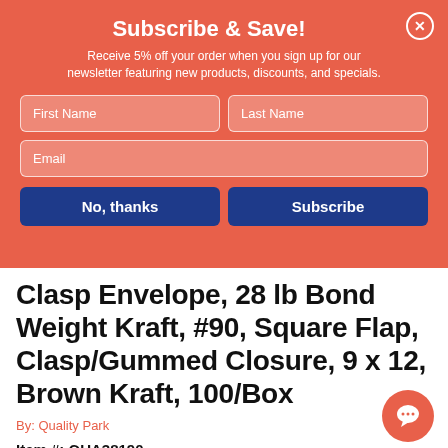Subscribe & Save!
Receive 5% off your order when you sign up for our newsletter featuring new products, discounts, and specials.
First Name | Last Name | Email (form fields)
No, thanks | Subscribe (buttons)
Clasp Envelope, 28 lb Bond Weight Kraft, #90, Square Flap, Clasp/Gummed Closure, 9 x 12, Brown Kraft, 100/Box
By: Quality Park
Item #: QUA38190